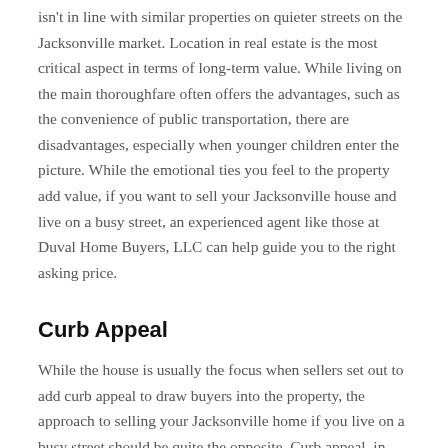isn't in line with similar properties on quieter streets on the Jacksonville market. Location in real estate is the most critical aspect in terms of long-term value. While living on the main thoroughfare often offers the advantages, such as the convenience of public transportation, there are disadvantages, especially when younger children enter the picture. While the emotional ties you feel to the property add value, if you want to sell your Jacksonville house and live on a busy street, an experienced agent like those at Duval Home Buyers, LLC can help guide you to the right asking price.
Curb Appeal
While the house is usually the focus when sellers set out to add curb appeal to draw buyers into the property, the approach to selling your Jacksonville home if you live on a busy street should be quite the opposite. Curb appeal, in this case, should serve to obscure the house from the main road. Carefully planned and